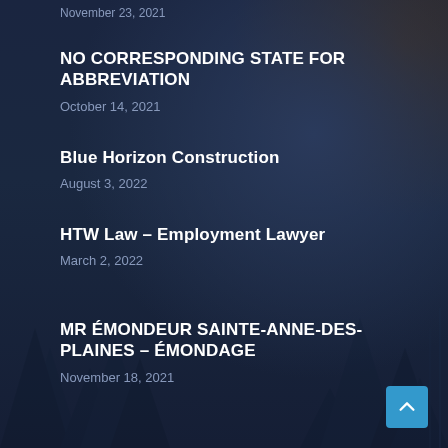November 23, 2021
NO CORRESPONDING STATE FOR ABBREVIATION
October 14, 2021
Blue Horizon Construction
August 3, 2022
HTW Law – Employment Lawyer
March 2, 2022
MR ÉMONDEUR Sainte-Anne-des-Plaines – ÉMONDAGE
November 18, 2021